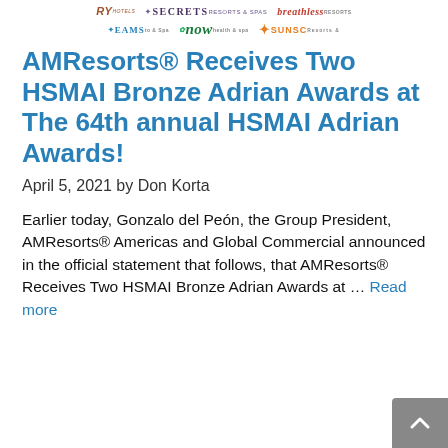[Figure (logo): Two rows of hotel/resort brand logos: RY, Secrets Resorts & Spa, Breathless Resorts; Dreams Resorts & Spa, NOW Health & Spa, SUNSC Resorts]
AMResorts® Receives Two HSMAI Bronze Adrian Awards at The 64th annual HSMAI Adrian Awards!
April 5, 2021 by Don Korta
Earlier today, Gonzalo del Peón, the Group President, AMResorts® Americas and Global Commercial announced in the official statement that follows, that AMResorts® Receives Two HSMAI Bronze Adrian Awards at … Read more